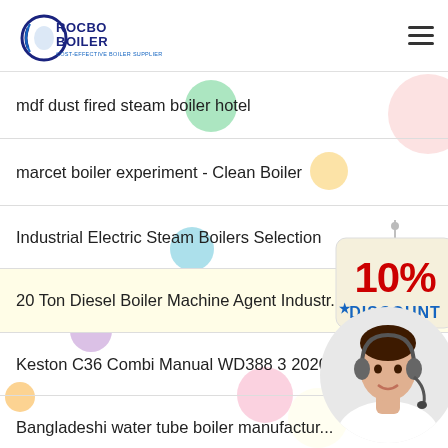[Figure (logo): Rocbo Boiler logo - circular boiler icon with text ROCBO BOILER and subtitle COST-EFFECTIVE BOILER SUPPLIER]
mdf dust fired steam boiler hotel
marcet boiler experiment - Clean Boiler
Industrial Electric Steam Boilers Selection
20 Ton Diesel Boiler Machine Agent Industr...
Keston C36 Combi Manual WD388 3 2020 Boiler
Bangladeshi water tube boiler manufactur...
shells burning boiler - and boiler
Residential Steam Boiler Systems Market...